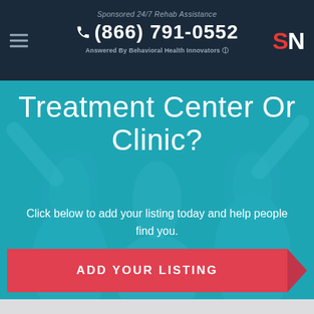Sponsored 24/7 Rehab Assistance
☎ (866) 791-0552
Answered By Behavioral Health Innovators ℹ
SN
Treatment Center Or Clinic?
Click below to add your listing today and help people find you.
ADD YOUR LISTING